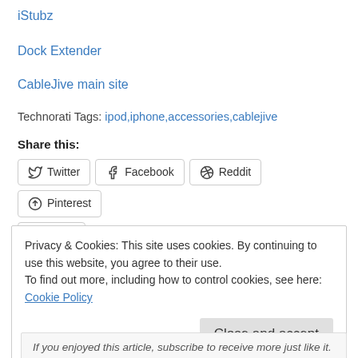iStubz
Dock Extender
CableJive main site
Technorati Tags: ipod,iphone,accessories,cablejive
Share this:
Twitter Facebook Reddit Pinterest Email
Posted in: Phones
Privacy & Cookies: This site uses cookies. By continuing to use this website, you agree to their use. To find out more, including how to control cookies, see here: Cookie Policy
Close and accept
If you enjoyed this article, subscribe to receive more just like it.